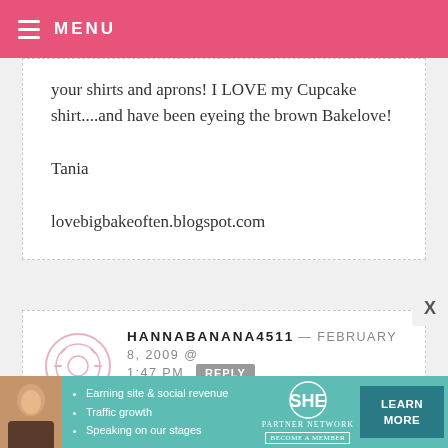MENU
your shirts and aprons! I LOVE my Cupcake shirt....and have been eyeing the brown Bakelove!
Tania
lovebigbakeoften.blogspot.com
HANNABANANA4511 — FEBRUARY 8, 2009 @ 1:47 PM REPLY
wow Taste of Home, that is very exciting!! I love the BakeLove chocolate brown t-shirt!
[Figure (infographic): SHE Partner Network advertisement banner with photo of woman, bullet points about earning site & social revenue, traffic growth, speaking on our stages, SHE logo, and Learn More button]